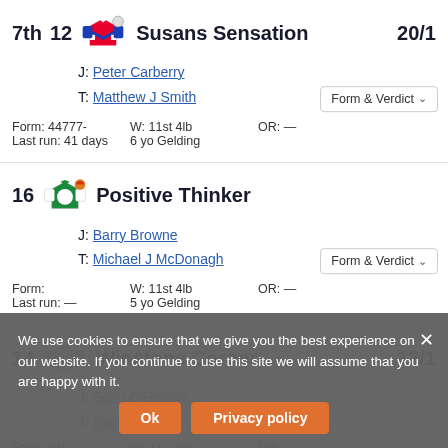7th 12 Susans Sensation 20/1 J: Peter Carberry T: Matthew J Smith Form: 44777- W: 11st 4lb OR: — Last run: 41 days 6 yo Gelding
16 Positive Thinker J: Barry Browne T: Michael J McDonagh Form: W: 11st 4lb OR: — Last run: — 5 yo Gelding
14 Winstone Corner 12/1 J: Sean O'Reame T: Paul N...
We use cookies to ensure that we give you the best experience on our website. If you continue to use this site we will assume that you are happy with it.